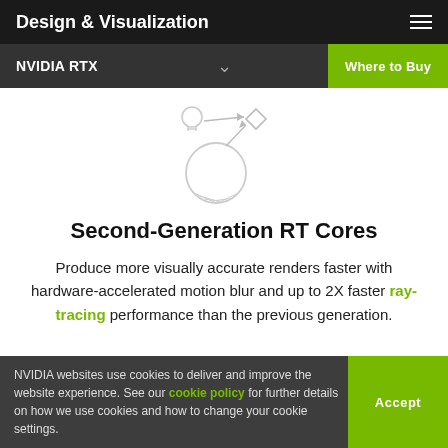Design & Visualization
NVIDIA RTX
[Figure (illustration): Line art icon showing a light bulb, a sphere with line shading at bottom, a diamond/gem shape, and arrows connecting them — representing ray tracing concept]
Second-Generation RT Cores
Produce more visually accurate renders faster with hardware-accelerated motion blur and up to 2X faster ray-tracing performance than the previous generation.
NVIDIA websites use cookies to deliver and improve the website experience. See our cookie policy for further details on how we use cookies and how to change your cookie settings.